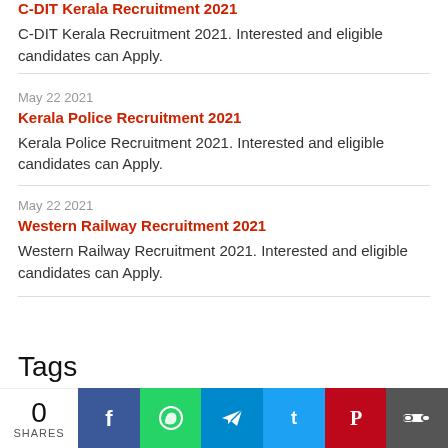C-DIT Kerala Recruitment 2021
C-DIT Kerala Recruitment 2021. Interested and eligible candidates can Apply.
May 22 2021
Kerala Police Recruitment 2021
Kerala Police Recruitment 2021. Interested and eligible candidates can Apply.
May 22 2021
Western Railway Recruitment 2021
Western Railway Recruitment 2021. Interested and eligible candidates can Apply.
Tags
0 SHARES